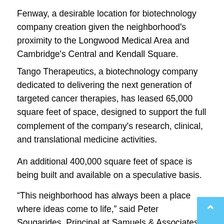Fenway, a desirable location for biotechnology company creation given the neighborhood's proximity to the Longwood Medical Area and Cambridge's Central and Kendall Square.
Tango Therapeutics, a biotechnology company dedicated to delivering the next generation of targeted cancer therapies, has leased 65,000 square feet of space, designed to support the full complement of the company's research, clinical, and translational medicine activities.
An additional 400,000 square feet of space is being built and available on a speculative basis.
“This neighborhood has always been a place where ideas come to life,” said Peter Sougarides, Principal at Samuels & Associates. “It’s clear that The Fenway is a thriving market for innovation. With construction of 201 Brookline underway, we